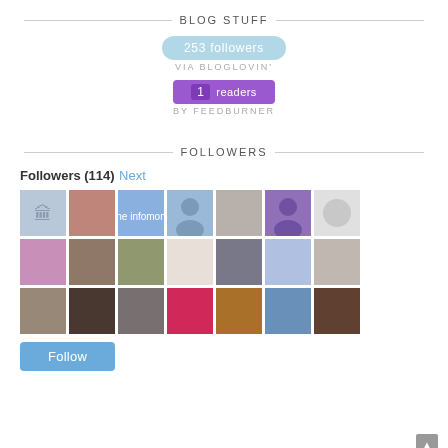BLOG STUFF
[Figure (infographic): 253 followers button via Bloglovin']
[Figure (infographic): 1 readers by Feedburner button]
FOLLOWERS
Followers (114) Next
[Figure (photo): Grid of 21 follower avatar photos in 4 rows]
[Figure (infographic): Follow button]